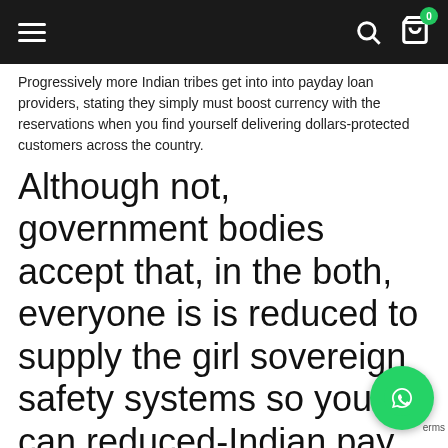Navigation bar with hamburger menu, search icon, and cart with badge 0
Progressively more Indian tribes get into into payday loan providers, stating they simply must boost currency with the reservations when you find yourself delivering dollars-protected customers across the country.
Although not, government bodies accept that, in the both, everyone is is reduced to supply the girl sovereign safety systems so you can reduced-Indian pay day loan organization which will be seeking dodge position information